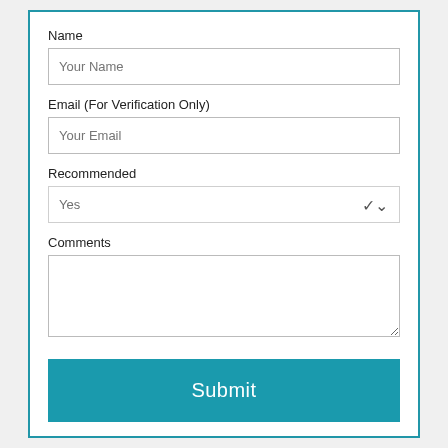Name
Your Name
Email (For Verification Only)
Your Email
Recommended
Yes
Comments
Submit